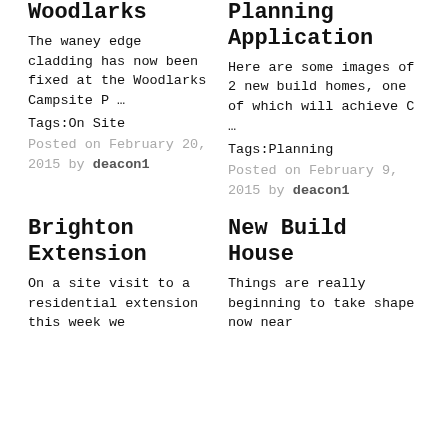Woodlarks
The waney edge cladding has now been fixed at the Woodlarks Campsite P …
Tags:On Site
Posted on February 20, 2015 by deacon1
Planning Application
Here are some images of 2 new build homes, one of which will achieve C …
Tags:Planning
Posted on February 9, 2015 by deacon1
Brighton Extension
On a site visit to a residential extension this week we
New Build House
Things are really beginning to take shape now near